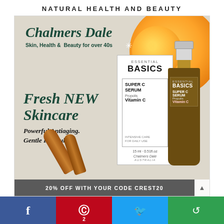NATURAL HEALTH AND BEAUTY
[Figure (photo): Advertisement image for Chalmers Dale Essential Basics Super C Serum with Propolis and Vitamin C. Features orange slices background, brand name in italic green text, product box and amber bottle, serum ampoules, tagline 'Fresh NEW Skincare', 'Powerful Antiaging. Gentle Formula.', and '20% OFF WITH YOUR CODE CREST20' promo bar.]
20% OFF WITH YOUR CODE CREST20